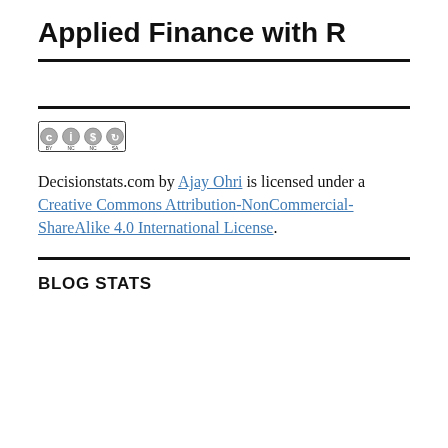Applied Finance with R
[Figure (logo): Creative Commons BY NC SA badge]
Decisionstats.com by Ajay Ohri is licensed under a Creative Commons Attribution-NonCommercial-ShareAlike 4.0 International License.
BLOG STATS